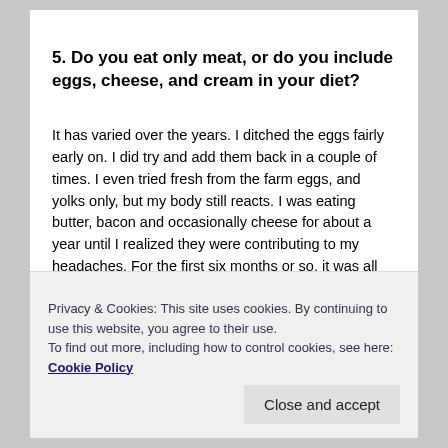5. Do you eat only meat, or do you include eggs, cheese, and cream in your diet?
It has varied over the years. I ditched the eggs fairly early on. I did try and add them back in a couple of times. I even tried fresh from the farm eggs, and yolks only, but my body still reacts. I was eating butter, bacon and occasionally cheese for about a year until I realized they were contributing to my headaches. For the first six months or so, it was all fare game! Then naturally over time, I went to beef only. At first, I was fine with ground beef, even frozen beef patties. Now my husband calls me
Privacy & Cookies: This site uses cookies. By continuing to use this website, you agree to their use.
To find out more, including how to control cookies, see here: Cookie Policy